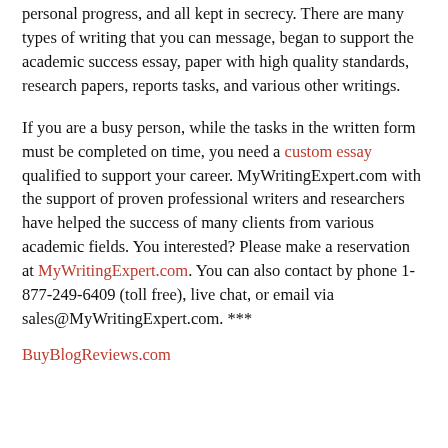personal progress, and all kept in secrecy. There are many types of writing that you can message, began to support the academic success essay, paper with high quality standards, research papers, reports tasks, and various other writings.
If you are a busy person, while the tasks in the written form must be completed on time, you need a custom essay qualified to support your career. MyWritingExpert.com with the support of proven professional writers and researchers have helped the success of many clients from various academic fields. You interested? Please make a reservation at MyWritingExpert.com. You can also contact by phone 1-877-249-6409 (toll free), live chat, or email via sales@MyWritingExpert.com. ***
BuyBlogReviews.com